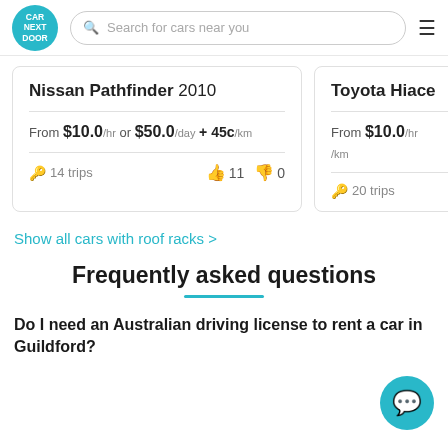[Figure (logo): Car Next Door circular teal logo with white text]
Search for cars near you
Nissan Pathfinder 2010
From $10.0 /hr or $50.0 /day + 45c /km
14 trips  👍 11  👎 0
Toyota Hiace
From $10.0 /hr
/km
20 trips
Show all cars with roof racks >
Frequently asked questions
Do I need an Australian driving license to rent a car in Guildford?